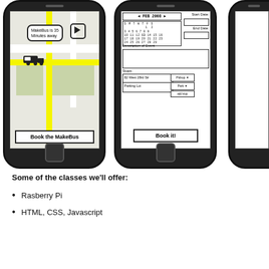[Figure (screenshot): Two smartphone mockups showing a MakeBus app. Left phone shows a map screen with 'MakeBus is 35 Minutes away' bubble, truck icon, and 'Book the MakeBus' button. Middle phone shows a booking form with FEB 2008 calendar, Start Date, End Date fields, Description of Event text area, Stops fields (82 West 28rd Str with Pickup dropdown, Parking Lot with Park dropdown, add stop button), and 'Book it!' button. A third phone is partially visible on the right.]
Some of the classes we'll offer:
Rasberry Pi
HTML, CSS, Javascript